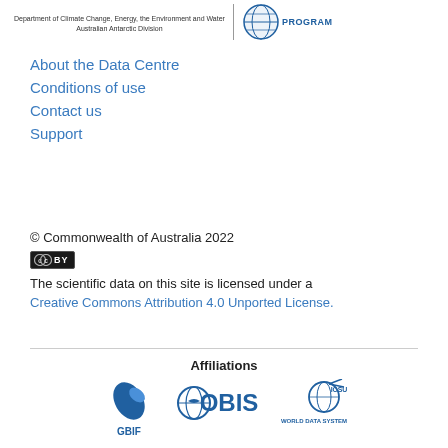[Figure (logo): Department of Climate Change, Energy, the Environment and Water / Australian Antarctic Division logo with globe and PROGRAM text]
About the Data Centre
Conditions of use
Contact us
Support
© Commonwealth of Australia 2022
[Figure (logo): Creative Commons CC BY badge]
The scientific data on this site is licensed under a
Creative Commons Attribution 4.0 Unported License.
Affiliations
[Figure (logo): GBIF logo - blue leaf/fish shape with GBIF text]
[Figure (logo): OBIS logo - globe with bird and OBIS text]
[Figure (logo): ICSU World Data System logo with globe]
[Figure (logo): CoreTrust Seal logo]
[Figure (logo): Data Citation Index - Covered By badge]